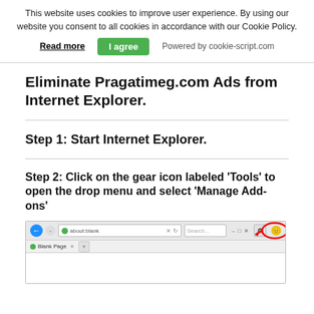This website uses cookies to improve user experience. By using our website you consent to all cookies in accordance with our Cookie Policy.
Read more   I agree   Powered by cookie-script.com
Eliminate Pragatimeg.com Ads from Internet Explorer.
Step 1: Start Internet Explorer.
Step 2: Click on the gear icon labeled 'Tools' to open the drop menu and select 'Manage Add-ons'
[Figure (screenshot): Internet Explorer browser window showing the address bar with 'about:blank', with a red circle arrow annotation pointing to the gear/settings icon in the top right corner. A tab labeled 'Blank Page' is visible.]